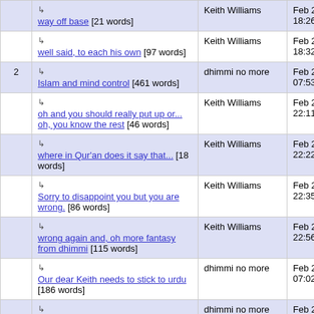| # | Title | Author | Date |
| --- | --- | --- | --- |
|  | ↳ way off base [21 words] | Keith Williams | Feb 20, 2009 18:26 |
|  | ↳ well said, to each his own [97 words] | Keith Williams | Feb 20, 2009 18:32 |
| 2 | ↳ Islam and mind control [461 words] | dhimmi no more | Feb 21, 2009 07:53 |
|  | ↳ oh and you should really put up or... oh, you know the rest [46 words] | Keith Williams | Feb 22, 2009 22:11 |
|  | ↳ where in Qur'an does it say that... [18 words] | Keith Williams | Feb 22, 2009 22:22 |
|  | ↳ Sorry to disappoint you but you are wrong. [86 words] | Keith Williams | Feb 22, 2009 22:35 |
|  | ↳ wrong again and, oh more fantasy from dhimmi [115 words] | Keith Williams | Feb 22, 2009 22:56 |
|  | ↳ Our dear Keith needs to stick to urdu [186 words] | dhimmi no more | Feb 24, 2009 07:02 |